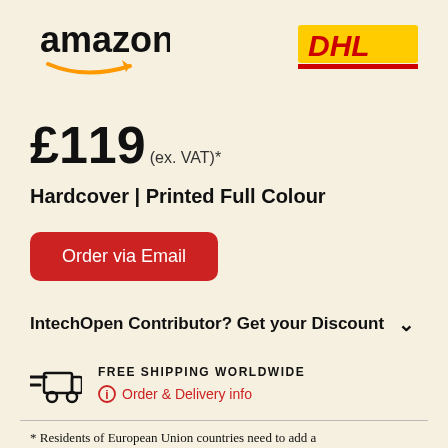[Figure (logo): Amazon logo (black text with orange arrow) and DHL logo (yellow and red) side by side]
£119 (ex. VAT)*
Hardcover | Printed Full Colour
Order via Email
IntechOpen Contributor? Get your Discount
FREE SHIPPING WORLDWIDE
Order & Delivery info
* Residents of European Union countries need to add a